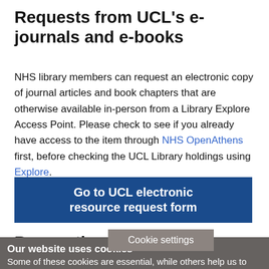Requests from UCL's e-journals and e-books
NHS library members can request an electronic copy of journal articles and book chapters that are otherwise available in-person from a Library Explore Access Point. Please check to see if you already have access to the item through NHS OpenAthens first, before checking the UCL Library holdings using Explore.
Go to UCL electronic resource request form
Requesting a... ry loan
Our website uses cookies
Some of these cookies are essential, while others help us to